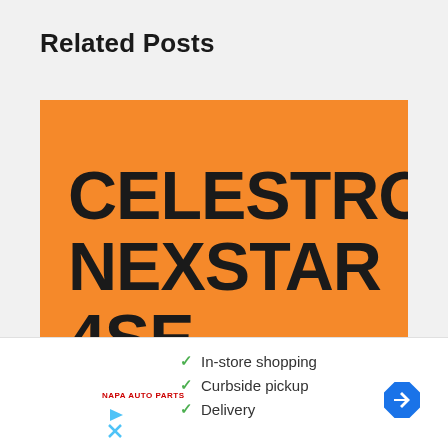Related Posts
[Figure (illustration): Orange card thumbnail with bold black text reading CELESTRON NEXSTAR 4SE REVIEW (partially cut off at bottom)]
[Figure (screenshot): Advertisement overlay showing store features: In-store shopping, Curbside pickup, Delivery with checkmarks; retailer logo; navigation arrow icon; play and close icons]